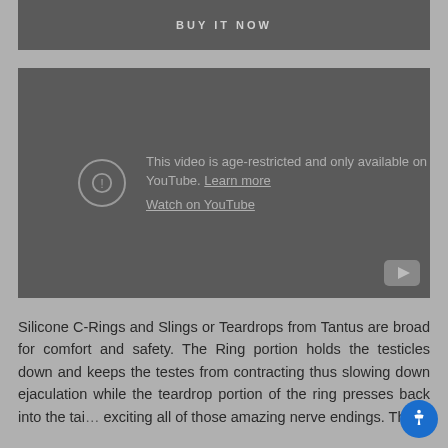BUY IT NOW
[Figure (screenshot): Embedded YouTube video placeholder showing age-restricted content message: 'This video is age-restricted and only available on YouTube. Learn more' with a 'Watch on YouTube' link and a YouTube play button icon in the corner.]
Silicone C-Rings and Slings or Teardrops from Tantus are broad for comfort and safety. The Ring portion holds the testicles down and keeps the testes from contracting thus slowing down ejaculation while the teardrop portion of the ring presses back into the taint exciting all of those amazing nerve endings. The